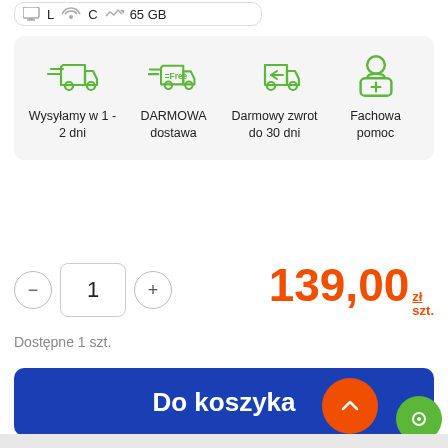[Figure (infographic): Four green icons showing: fast delivery truck, free delivery truck, return truck, and customer support person. Labels: Wysyłamy w 1-2 dni, DARMOWA dostawa, Darmowy zwrot do 30 dni, Fachowa pomoc]
1
139,00 zł/szt.
Dostępne 1 szt.
Do koszyka